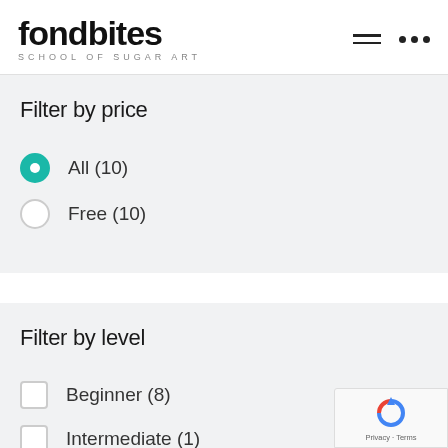fondbites SCHOOL OF SUGAR ART
Filter by price
All (10)
Free (10)
Filter by level
Beginner (8)
Intermediate (1)
Expert (1)